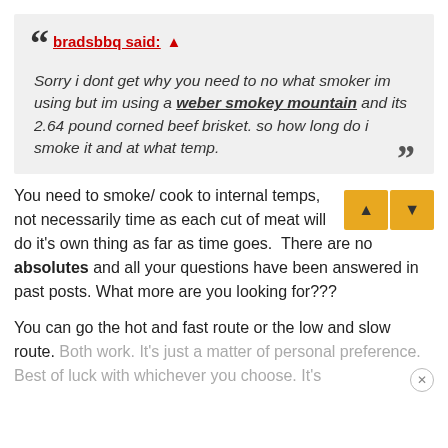bradsbbq said: ↑ Sorry i dont get why you need to no what smoker im using but im using a weber smokey mountain and its 2.64 pound corned beef brisket. so how long do i smoke it and at what temp.
You need to smoke/ cook to internal temps, not necessarily time as each cut of meat will do it's own thing as far as time goes.  There are no absolutes and all your questions have been answered in past posts. What more are you looking for???
You can go the hot and fast route or the low and slow route. Both work. It's just a matter of personal preference. Best of luck with whichever you choose. It's